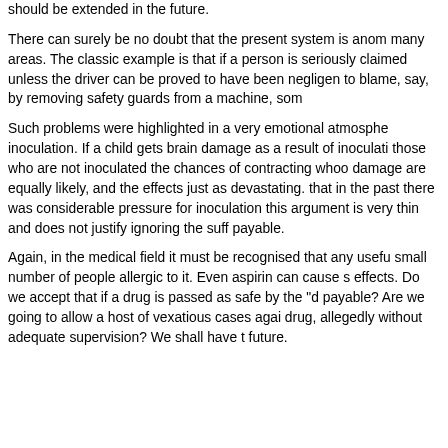should be extended in the future.
There can surely be no doubt that the present system is anom many areas. The classic example is that if a person is seriously claimed unless the driver can be proved to have been negligen to blame, say, by removing safety guards from a machine, som
Such problems were highlighted in a very emotional atmosphe inoculation. If a child gets brain damage as a result of inoculati those who are not inoculated the chances of contracting whoo damage are equally likely, and the effects just as devastating. that in the past there was considerable pressure for inoculation this argument is very thin and does not justify ignoring the suff payable.
Again, in the medical field it must be recognised that any usefu small number of people allergic to it. Even aspirin can cause s effects. Do we accept that if a drug is passed as safe by the "d payable? Are we going to allow a host of vexatious cases agai drug, allegedly without adequate supervision? We shall have t future.